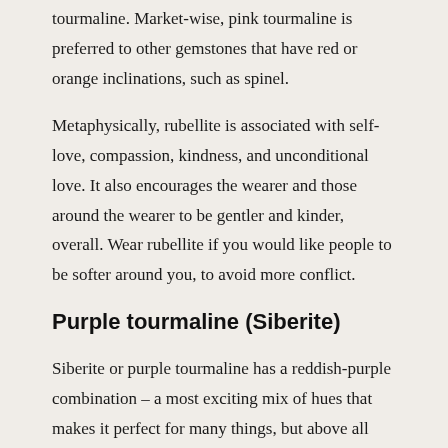tourmaline. Market-wise, pink tourmaline is preferred to other gemstones that have red or orange inclinations, such as spinel.
Metaphysically, rubellite is associated with self-love, compassion, kindness, and unconditional love. It also encourages the wearer and those around the wearer to be gentler and kinder, overall. Wear rubellite if you would like people to be softer around you, to avoid more conflict.
Purple tourmaline (Siberite)
Siberite or purple tourmaline has a reddish-purple combination – a most exciting mix of hues that makes it perfect for many things, but above all...